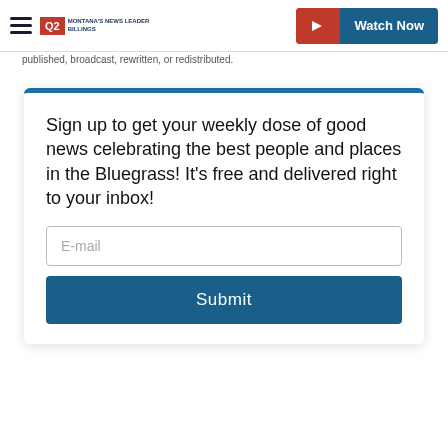Q2 Montana's News Leader Billings | Watch Now
published, broadcast, rewritten, or redistributed.
Sign up to get your weekly dose of good news celebrating the best people and places in the Bluegrass! It's free and delivered right to your inbox!
E-mail
Submit